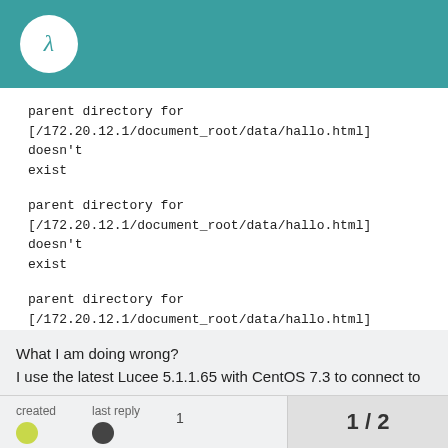Lucee forum header
parent directory for [/172.20.12.1/document_root/data/hallo.html] doesn't exist
parent directory for [/172.20.12.1/document_root/data/hallo.html] doesn't exist
parent directory for [/172.20.12.1/document_root/data/hallo.html] doesn't exist
What I am doing wrong?
I use the latest Lucee 5.1.1.65 with CentOS 7.3 to connect to a Windows
file share.
created   last reply   1   1 / 2